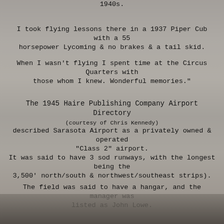1940s.
I took flying lessons there in a 1937 Piper Cub with a 55 horsepower Lycoming & no brakes & a tail skid.
When I wasn't flying I spent time at the Circus Quarters with those whom I knew. Wonderful memories."
The 1945 Haire Publishing Company Airport Directory (courtesy of Chris Kennedy)
described Sarasota Airport as a privately owned & operated "Class 2" airport.
It was said to have 3 sod runways, with the longest being the 3,500' north/south & northwest/southeast strips).
The field was said to have a hangar, and the manager was listed as John Lowe.